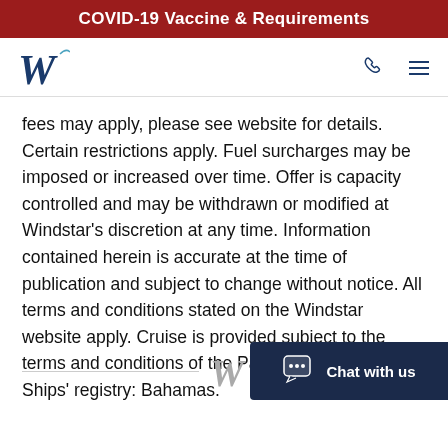COVID-19 Vaccine & Requirements
[Figure (logo): Windstar Cruises W logo in navy blue]
fees may apply, please see website for details. Certain restrictions apply. Fuel surcharges may be imposed or increased over time. Offer is capacity controlled and may be withdrawn or modified at Windstar's discretion at any time. Information contained herein is accurate at the time of publication and subject to change without notice. All terms and conditions stated on the Windstar website apply. Cruise is provided subject to the terms and conditions of the Passage Contract. Ships' registry: Bahamas.
[Figure (logo): Windstar Cruises W logo in grey, footer]
[Figure (other): Chat with us button in dark navy blue]